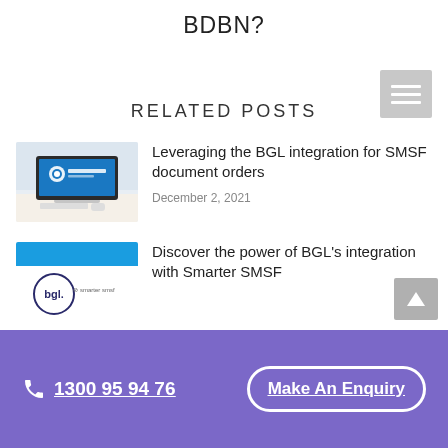BDBN?
RELATED POSTS
[Figure (screenshot): Thumbnail image of a computer monitor displaying SimpleFund360 software interface]
Leveraging the BGL integration for SMSF document orders
December 2, 2021
[Figure (logo): BGL and Smarter SMSF logos with blue banner background]
Discover the power of BGL's integration with Smarter SMSF
1300 95 94 76   Make An Enquiry